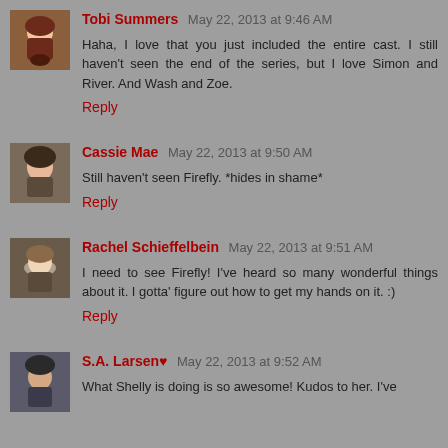Tobi Summers May 22, 2013 at 9:46 AM
Haha, I love that you just included the entire cast. I still haven't seen the end of the series, but I love Simon and River. And Wash and Zoe.
Reply
Cassie Mae May 22, 2013 at 9:50 AM
Still haven't seen Firefly. *hides in shame*
Reply
Rachel Schieffelbein May 22, 2013 at 9:51 AM
I need to see Firefly! I've heard so many wonderful things about it. I gotta' figure out how to get my hands on it. :)
Reply
S.A. Larsen♥ May 22, 2013 at 9:52 AM
What Shelly is doing is so awesome! Kudos to her. I've